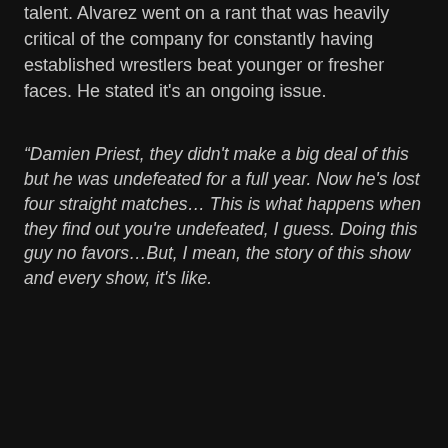talent. Alvarez went on a rant that was heavily critical of the company for constantly having established wrestlers beat younger or fresher faces. He stated it's an ongoing issue.
“Damien Priest, they didn't make a big deal of this but he was undefeated for a full year. Now he's lost four straight matches… This is what happens when they find out you're undefeated, I guess. Doing this guy no favors…But, I mean, the story of this show and every show, it's like.